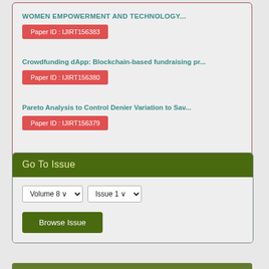WOMEN EMPOWERMENT AND TECHNOLOGY...
Paper ID : IJIRT156383
Crowdfunding dApp: Blockchain-based fundraising pr...
Paper ID : IJIRT156380
Pareto Analysis to Control Denier Variation to Sav...
Paper ID : IJIRT156379
Go To Issue
Volume 8   Issue 1
Browse Issue